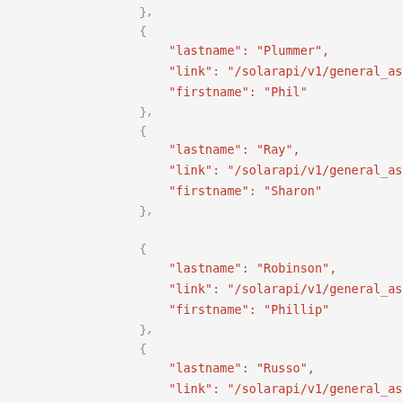},
{
    "lastname": "Plummer",
    "link": "/solarapi/v1/general_assem...",
    "firstname": "Phil"
},
{
    "lastname": "Ray",
    "link": "/solarapi/v1/general_assem...",
    "firstname": "Sharon"
},
{
    "lastname": "Robinson",
    "link": "/solarapi/v1/general_assem...",
    "firstname": "Phillip"
},
{
    "lastname": "Russo",
    "link": "/solarapi/v1/general_assem...",
    "firstname": "C."
},
{
    "lastname": "...